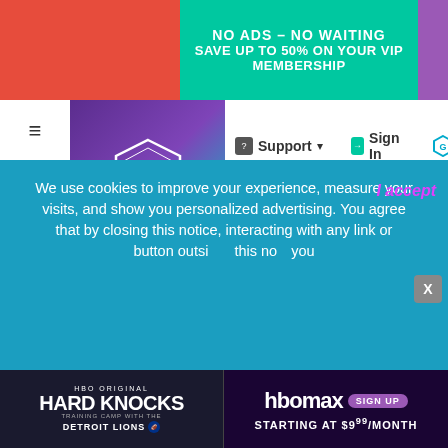[Figure (screenshot): Top advertisement banner: teal/green background with red left block and purple right block. Text: 'NO ADS – NO WAITING' and 'SAVE UP TO 50% ON YOUR VIP MEMBERSHIP' in white bold letters.]
[Figure (screenshot): Website navigation bar for The Sims Resource (TSR). Left: hamburger menu icon. Center-left: TSR hexagonal logo on purple/teal gradient background. Right side: Support dropdown, Sign In, Gift, Free account, Join VIP, cart icon.]
[Figure (screenshot): Website content area showing a game screenshot mosaic. Left panel: dark brown floor tiles with 'CYFI' text in pink/magenta italic font, subtitle text, and syboulette.fr attribution. Center panel: teal/cyan glass wall interior. Right panel: beige/gray exterior building with circular avatar icon.]
We use cookies to improve your experience, measure your visits, and show you personalized advertising. You agree that by closing this notice, interacting with any link or button outside this notice, or by continuing to browse otherwise, you
[Figure (screenshot): HBO ad banner. Left half: black background with 'HBO ORIGINAL' text, 'HARD KNOCKS' in large white bold font, 'TRAINING CAMP WITH THE' subtitle, 'DETROIT LIONS' with NFL logo. Right half: dark purple background with 'hbo max' logo and 'SIGN UP' purple button and 'STARTING AT $9⁹⁹/MONTH' text.]